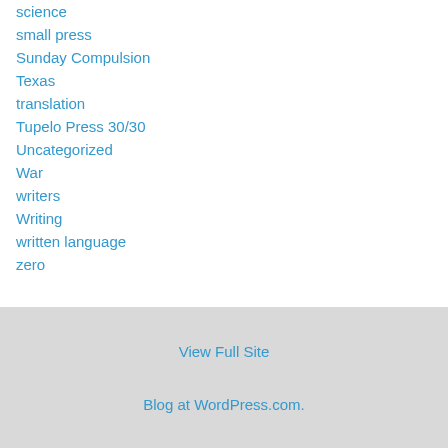science
small press
Sunday Compulsion
Texas
translation
Tupelo Press 30/30
Uncategorized
War
writers
Writing
written language
zero
View Full Site
Blog at WordPress.com.